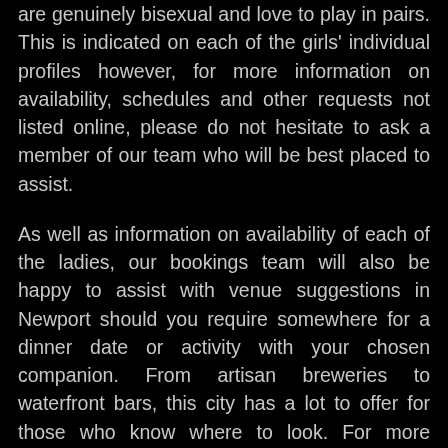are genuinely bisexual and love to play in pairs. This is indicated on each of the girls' individual profiles however, for more information on availability, schedules and other requests not listed online, please do not hesitate to ask a member of our team who will be best placed to assist.
As well as information on availability of each of the ladies, our bookings team will also be happy to assist with venue suggestions in Newport should you require somewhere for a dinner date or activity with your chosen companion. From artisan breweries to waterfront bars, this city has a lot to offer for those who know where to look. For more bespoke requests, we would appreciate advanced notice to avoid disappointment. Many of the ladies are willing to accommodate dress up requests, should you have any specific